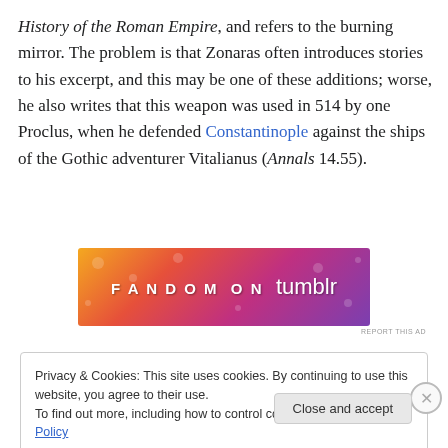History of the Roman Empire, and refers to the burning mirror. The problem is that Zonaras often introduces stories to his excerpt, and this may be one of these additions; worse, he also writes that this weapon was used in 514 by one Proclus, when he defended Constantinople against the ships of the Gothic adventurer Vitalianus (Annals 14.55).
[Figure (other): Fandom on Tumblr advertisement banner with colorful gradient background (orange, red, pink, purple) and decorative music/heart/star icons. Text reads: FANDOM ON tumblr]
Privacy & Cookies: This site uses cookies. By continuing to use this website, you agree to their use.
To find out more, including how to control cookies, see here: Cookie Policy